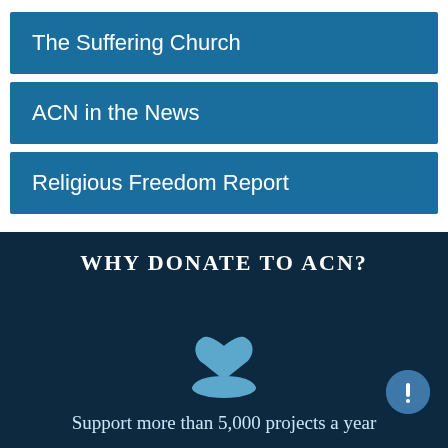The Suffering Church
ACN in the News
Religious Freedom Report
WHY DONATE TO ACN?
[Figure (illustration): A hand holding a heart icon, rendered in light blue, symbolizing donation or giving]
Support more than 5,000 projects a year